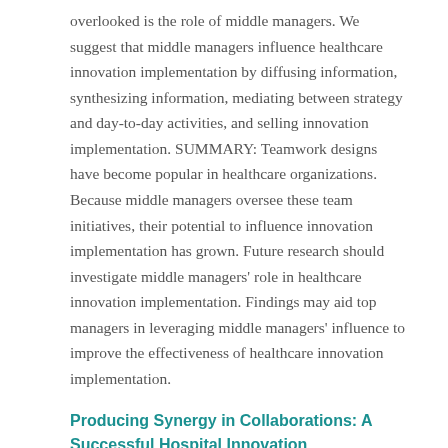overlooked is the role of middle managers. We suggest that middle managers influence healthcare innovation implementation by diffusing information, synthesizing information, mediating between strategy and day-to-day activities, and selling innovation implementation. SUMMARY: Teamwork designs have become popular in healthcare organizations. Because middle managers oversee these team initiatives, their potential to influence innovation implementation has grown. Future research should investigate middle managers' role in healthcare innovation implementation. Findings may aid top managers in leveraging middle managers' influence to improve the effectiveness of healthcare innovation implementation.
Producing Synergy in Collaborations: A Successful Hospital Innovation